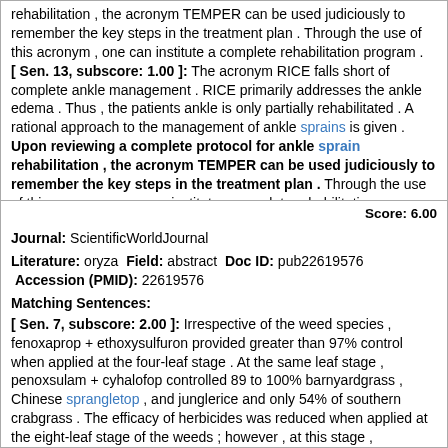rehabilitation , the acronym TEMPER can be used judiciously to remember the key steps in the treatment plan . Through the use of this acronym , one can institute a complete rehabilitation program . [ Sen. 13, subscore: 1.00 ]: The acronym RICE falls short of complete ankle management . RICE primarily addresses the ankle edema . Thus , the patients ankle is only partially rehabilitated . A rational approach to the management of ankle sprains is given . Upon reviewing a complete protocol for ankle sprain rehabilitation , the acronym TEMPER can be used judiciously to remember the key steps in the treatment plan . Through the use of this acronym , one can institute a complete rehabilitation program .
Score: 6.00
Journal: ScientificWorldJournal
Literature: oryza Field: abstract Doc ID: pub22619576 Accession (PMID): 22619576
Matching Sentences:
[ Sen. 7, subscore: 2.00 ]: Irrespective of the weed species , fenoxaprop + ethoxysulfuron provided greater than 97% control when applied at the four-leaf stage . At the same leaf stage , penoxsulam + cyhalofop controlled 89 to 100% barnyardgrass , Chinese sprangletop , and junglerice and only 54% of southern crabgrass . The efficacy of herbicides was reduced when applied at the eight-leaf stage of the weeds ; however , at this stage , fenoxaprop + ethoxysulfuron was effective in controlling 99% of Chinese sprangletop . The results demonstrate the importance of early herbicide application in controlling the weeds . The study identified that at the six-leaf stage of the weeds , fenoxaprop + ethoxysulfuron can effectively control Chinese sprangletop and southern crabgrass , penoxsulam +